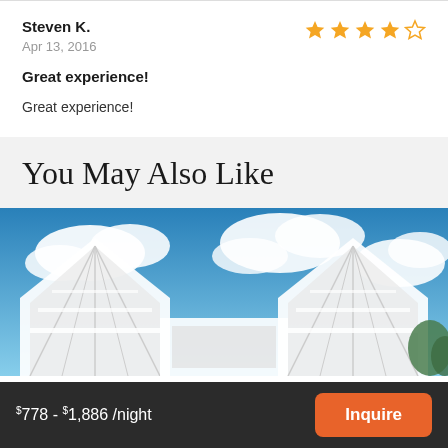Steven K.
Apr 13, 2016
[Figure (other): 4-star rating: 4 filled stars and 1 empty star]
Great experience!
Great experience!
You May Also Like
[Figure (photo): Exterior photo of white triangular roof structures against a blue sky with clouds]
$778 - $1,886 /night
Inquire